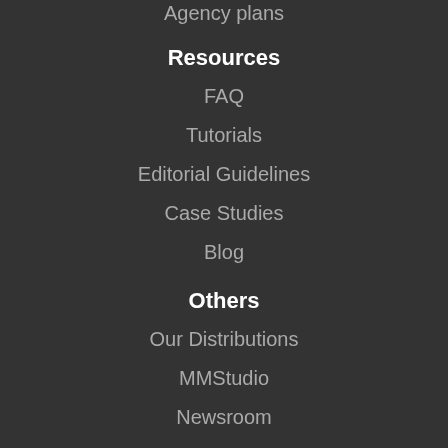Agency plans
Resources
FAQ
Tutorials
Editorial Guidelines
Case Studies
Blog
Others
Our Distributions
MMStudio
Newsroom
Link Removal